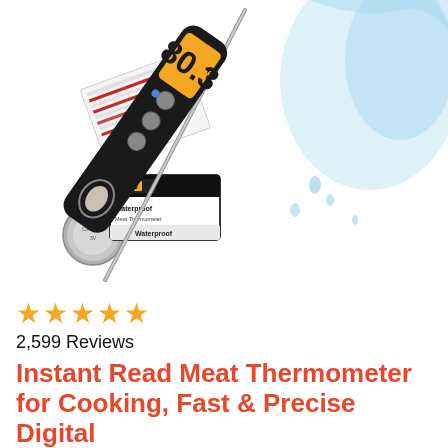[Figure (photo): Product photo of a digital instant-read meat thermometer (black body with yellow LCD display showing 80.3°F, metal probe, bottle opener integrated at base) shown with water splash, a coin cell battery, reference temperature card, and product packaging box labeled 'Waterproof Meat Thermometer'.]
★★★★★
2,599 Reviews
Instant Read Meat Thermometer for Cooking, Fast & Precise Digital